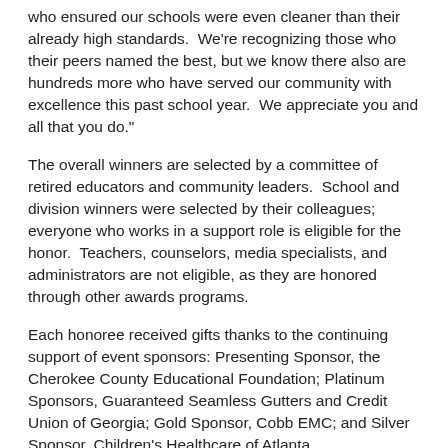who ensured our schools were even cleaner than their already high standards.  We're recognizing those who their peers named the best, but we know there also are hundreds more who have served our community with excellence this past school year.  We appreciate you and all that you do."
The overall winners are selected by a committee of retired educators and community leaders.  School and division winners were selected by their colleagues; everyone who works in a support role is eligible for the honor.  Teachers, counselors, media specialists, and administrators are not eligible, as they are honored through other awards programs.
Each honoree received gifts thanks to the continuing support of event sponsors: Presenting Sponsor, the Cherokee County Educational Foundation; Platinum Sponsors, Guaranteed Seamless Gutters and Credit Union of Georgia; Gold Sponsor, Cobb EMC; and Silver Sponsor, Children's Healthcare of Atlanta.
The three overall winners each were awarded a $300 Visa gift card funded by the sponsors, $50 gift certificate for Local on North given by Shottenkirk Chrysler Dodge Jeep Ram, $50 gift certificate from Riverstone Corner Bistro, a spa package gift